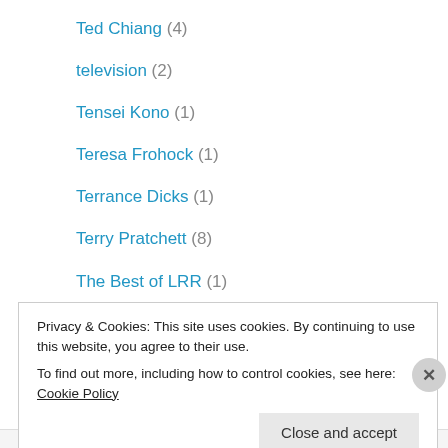Ted Chiang (4)
television (2)
Tensei Kono (1)
Teresa Frohock (1)
Terrance Dicks (1)
Terry Pratchett (8)
The Best of LRR (1)
The Fifth Element (1)
The Hobbit (1)
Theodora Goss (1)
Thomas Olde Heuvelt (2)
Thoraiya Dyer (1)
Tim C. Ward (1)
Privacy & Cookies: This site uses cookies. By continuing to use this website, you agree to their use.
To find out more, including how to control cookies, see here: Cookie Policy
Close and accept